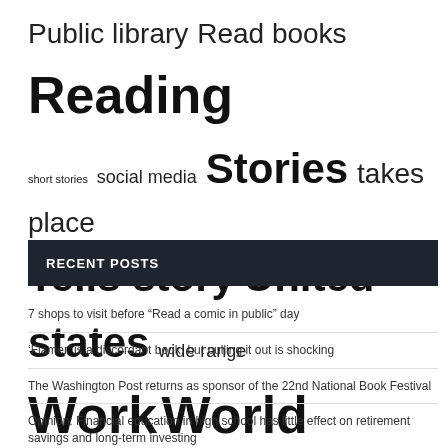[Figure (infographic): Tag cloud with words of varying sizes related to books and reading: Public library, Read books, Reading (largest), short stories, social media, Stories (large), takes place, Tells story, United states (large), wide range, Work (very large), World (very large), Young readers (large)]
RECENT POSTS
7 shops to visit before “Read a comic in public” day
‘Flamer’ is a discordant book, but pulling it out is shocking
The Washington Post returns as sponsor of the 22nd National Book Festival
Opinion: Financial education in high school has little effect on retirement savings and long-term investing